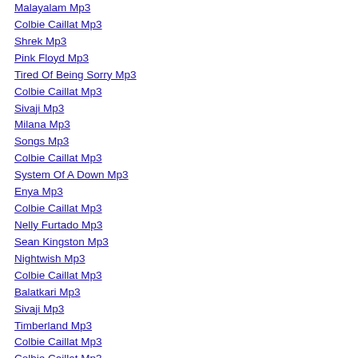Malayalam Mp3
Colbie Caillat Mp3
Shrek Mp3
Pink Floyd Mp3
Tired Of Being Sorry Mp3
Colbie Caillat Mp3
Sivaji Mp3
Milana Mp3
Songs Mp3
Colbie Caillat Mp3
System Of A Down Mp3
Enya Mp3
Colbie Caillat Mp3
Nelly Furtado Mp3
Sean Kingston Mp3
Nightwish Mp3
Colbie Caillat Mp3
Balatkari Mp3
Sivaji Mp3
Timberland Mp3
Colbie Caillat Mp3
Colbie Caillat Mp3
Requiem For A Dream Mp3
Enya Mp3
Canon Mp3
Colbie Caillat Mp3